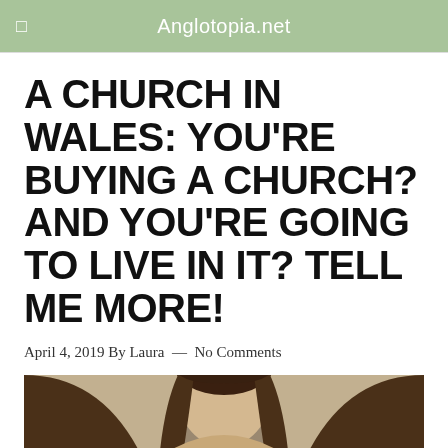Anglotopia.net
A CHURCH IN WALES: YOU'RE BUYING A CHURCH? AND YOU'RE GOING TO LIVE IN IT? TELL ME MORE!
April 4, 2019 By Laura — No Comments
[Figure (photo): Photo of a woman with long hair in front of a church window, sepia-toned]